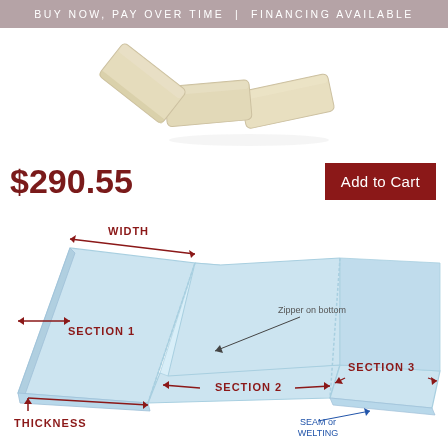BUY NOW, PAY OVER TIME  |  FINANCING AVAILABLE
[Figure (photo): Cream/beige cushion lounger pad shown folded in three sections at an angle on white background]
$290.55
[Figure (illustration): Diagram of a lounge chair cushion in light blue showing labeled sections: WIDTH arrow across top, SECTION 1 (large back section), SECTION 2 (middle flat section), SECTION 3 (foot section), THICKNESS arrow on left side, Zipper on bottom label with arrow pointing to seam between sections 1 and 2, SEAM or WELTING label with arrow pointing to bottom right edge]